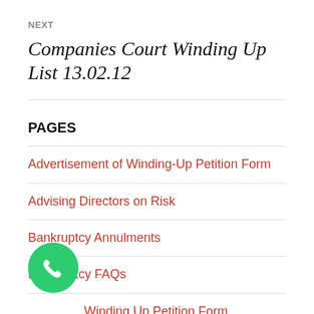NEXT
Companies Court Winding Up List 13.02.12
PAGES
Advertisement of Winding-Up Petition Form
Advising Directors on Risk
Bankruptcy Annulments
Bankruptcy FAQs
B... Winding Up Petition Form